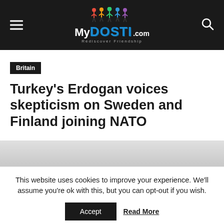My Dosti .com — Rediscover Friendship
Britain
Turkey's Erdogan voices skepticism on Sweden and Finland joining NATO
This website uses cookies to improve your experience. We'll assume you're ok with this, but you can opt-out if you wish.
Accept    Read More